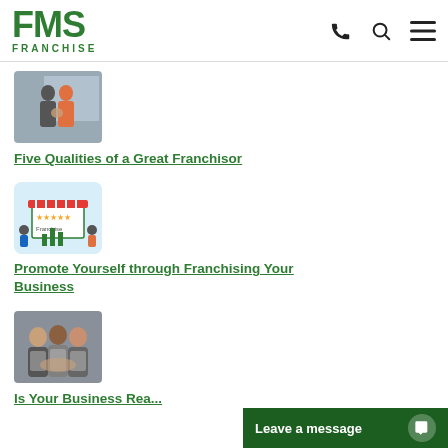FMS FRANCHISE
[Figure (photo): Two people shaking hands in an office or retail setting]
Five Qualities of a Great Franchisor
[Figure (illustration): Franchise business illustration with storefront graphic and small figures]
Promote Yourself through Franchising Your Business
[Figure (photo): Group of three smiling people in aprons, stacking hands together]
Is Your Business Rea...
Leave a message